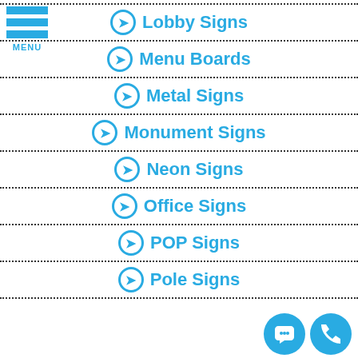Lobby Signs
Menu Boards
Metal Signs
Monument Signs
Neon Signs
Office Signs
POP Signs
Pole Signs